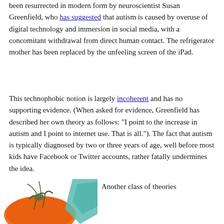been resurrected in modern form by neuroscientist Susan Greenfield, who has suggested that autism is caused by overuse of digital technology and immersion in social media, with a concomitant withdrawal from direct human contact. The refrigerator mother has been replaced by the unfeeling screen of the iPad.
This technophobic notion is largely incoherent and has no supporting evidence. (When asked for evidence, Greenfield has described her own theory as follows: "I point to the increase in autism and I point to internet use. That is all."). The fact that autism is typically diagnosed by two or three years of age, well before most kids have Facebook or Twitter accounts, rather fatally undermines the idea.
[Figure (illustration): Partial illustration of an insect (appears to be a praying mantis or similar) on an orange/round object, with a teal/blue geometric shape visible on the right side.]
Another class of theories